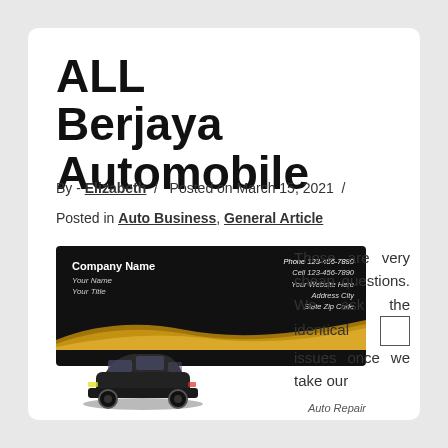ALL Berjaya Automobile
By - Elizabeth / Posted on March 15, 2021 /
Posted in Auto Business, General Article
[Figure (illustration): Auto repair business card template showing dark background with company name, contact info, gold wave design, and SUV car image with 'Auto Repair' text]
Those are very cheap questions. We ask the identical issues once we take our